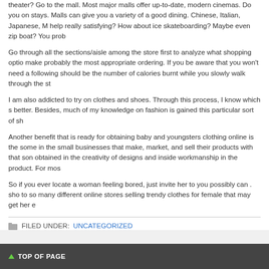theater? Go to the mall. Most major malls offer up-to-date, modern cinemas. Do you on stays. Malls can give you a variety of a good dining. Chinese, Italian, Japanese, M help really satisfying? How about ice skateboarding? Maybe even zip boat? You prob
Go through all the sections/aisle among the store first to analyze what shopping optio make probably the most appropriate ordering. If you be aware that you won't need a following should be the number of calories burnt while you slowly walk through the st
I am also addicted to try on clothes and shoes. Through this process, I know which s better. Besides, much of my knowledge on fashion is gained this particular sort of sh
Another benefit that is ready for obtaining baby and youngsters clothing online is the some in the small businesses that make, market, and sell their products with that son obtained in the creativity of designs and inside workmanship in the product. For mos
So if you ever locate a woman feeling bored, just invite her to you possibly can . sho to so many different online stores selling trendy clothes for female that may get her e
FILED UNDER: UNCATEGORIZED
TOP OF PAGE